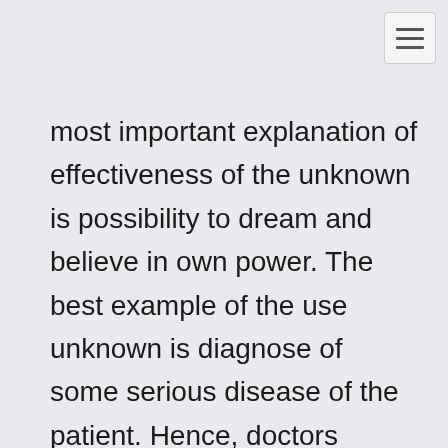most important explanation of effectiveness of the unknown is possibility to dream and believe in own power. The best example of the use unknown is diagnose of some serious disease of the patient. Hence, doctors sometimes face the situation when person has barely got chances to survive. In this situation, if patient will be saturated with whole true but negative information about his or her impending death, will not have any motivations to go on living and fight the illness. Thus, having a lack of information, people tends to effectively impact on own life because of internal moral strength and belief in happy end.
Secondly, unknown is sufficient factor to foster the